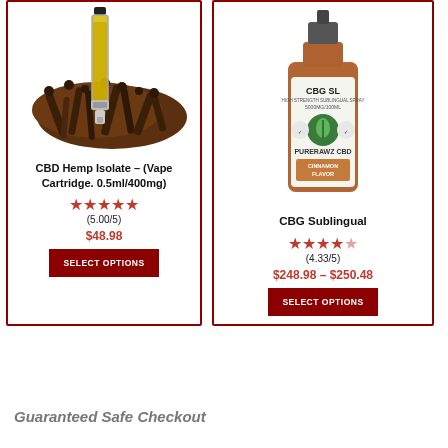[Figure (photo): CBD Hemp Isolate vape cartridge product image with cloves/spices in background]
CBD Hemp Isolate – (Vape Cartridge. 0.5ml/400mg)
★★★★★ (5.00/5)
$48.98
SELECT OPTIONS
[Figure (photo): CBG Sublingual dropper bottle product image - amber glass bottle with cinnamon flavor label]
CBG Sublingual
★★★★½ (4.33/5)
$248.98 – $250.48
SELECT OPTIONS
Guaranteed Safe Checkout